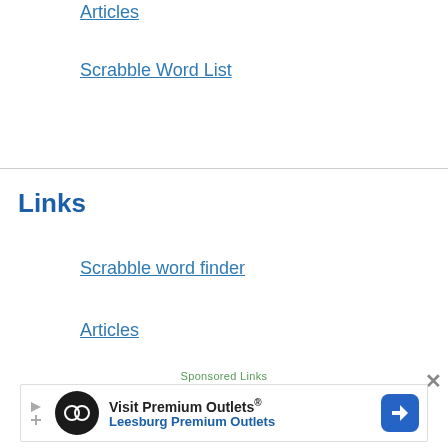Articles
Scrabble Word List
Links
Scrabble word finder
Articles
Scrabble Word List
Sponsored Links
[Figure (infographic): Ad banner: Visit Premium Outlets® / Leesburg Premium Outlets with logo and navigation icon]